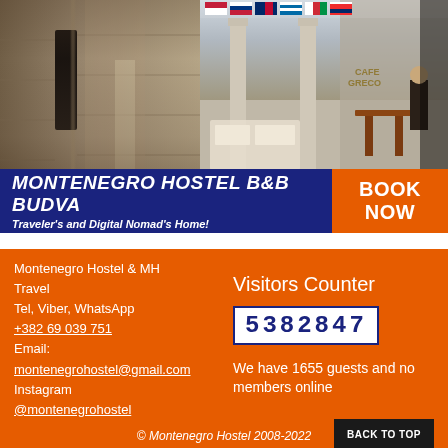[Figure (photo): Split photo banner: left side shows a narrow cobblestone alley with stone walls and a dark doorway; right side shows an outdoor cafe/restaurant terrace with international flags, white columns, a person working, and outdoor seating.]
MONTENEGRO HOSTEL B&B BUDVA
Traveler's and Digital Nomad's Home!
BOOK NOW
Montenegro Hostel & MH
Travel
Tel, Viber, WhatsApp
+382 69 039 751
Email:
montegrohostel@gmail.com
Instagram
@montenegrohostel
Visitors Counter
5382847
We have 1655 guests and no members online
© Montenegro Hostel 2008-2022
BACK TO TOP